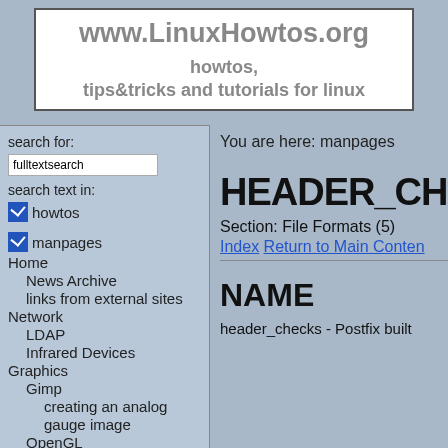www.LinuxHowtos.org howtos, tips&tricks and tutorials for linux
search for:
fulltextsearch
search text in:
howtos
manpages
Home
News Archive
links from external sites
Network
LDAP
Infrared Devices
Graphics
Gimp
creating an analog gauge image
OpenGL
Programming
C/C++
You are here: manpages
HEADER_CH
Section: File Formats (5)
Index  Return to Main Content
NAME
header_checks - Postfix built